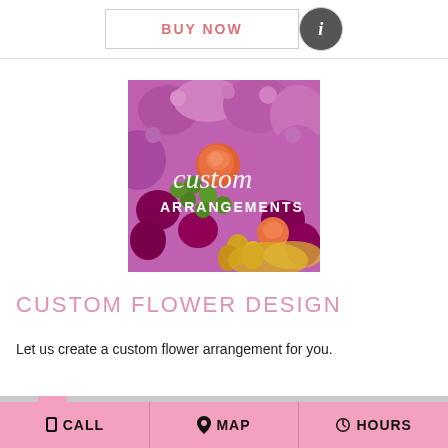BUY NOW
[Figure (photo): Custom floral arrangement with orange roses, purple flowers, and green berries with text 'custom ARRANGEMENTS' overlaid]
CUSTOM FLOWER DESIGN
Let us create a custom flower arrangement for you.
Order within 9 hours 14 minutes for Same Day Delivery!
CALL  MAP  HOURS